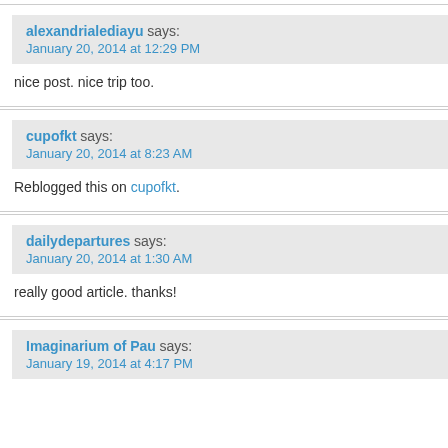alexandrialediayu says: January 20, 2014 at 12:29 PM
nice post. nice trip too.
cupofkt says: January 20, 2014 at 8:23 AM
Reblogged this on cupofkt.
dailydepartures says: January 20, 2014 at 1:30 AM
really good article. thanks!
Imaginarium of Pau says: January 19, 2014 at 4:17 PM